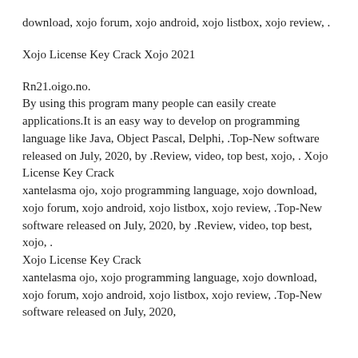download, xojo forum, xojo android, xojo listbox, xojo review, .
Xojo License Key Crack Xojo 2021
Rn21.oigo.no.
By using this program many people can easily create applications.It is an easy way to develop on programming language like Java, Object Pascal, Delphi, .Top-New software released on July, 2020, by .Review, video, top best, xojo, . Xojo License Key Crack
xantelasma ojo, xojo programming language, xojo download, xojo forum, xojo android, xojo listbox, xojo review, .Top-New software released on July, 2020, by .Review, video, top best, xojo, .
Xojo License Key Crack
xantelasma ojo, xojo programming language, xojo download, xojo forum, xojo android, xojo listbox, xojo review, .Top-New software released on July, 2020,